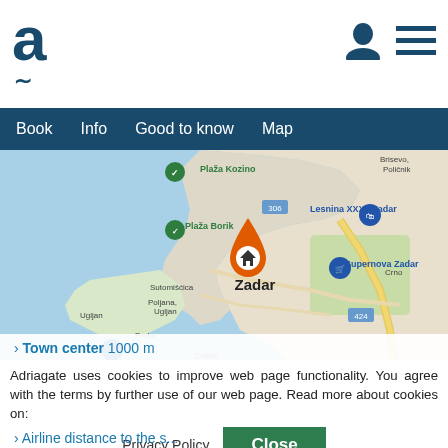a (Adriagate logo)
Book | Info | Good to know | Map
[Figure (map): Google Maps view of Zadar, Croatia showing the peninsula and surrounding water, with an orange home-pin marker on Zadar, green pins for Plaža Kozino and Plaža Borik, and blue pins for Lesnina XXXL Zadar and Supernova Zadar. Nearby places labeled: Sutomišćica, Poljana, Ugljan, Preko, Ošljak, Crno, Brisevo/Poličnik, Bibinje. Road labels 306 and 424 visible.]
Adriagate uses cookies to improve web page functionality. You agree with the terms by further use of our web page. Read more about cookies on:
› Town center 1000 m
› Airline distance to the s...